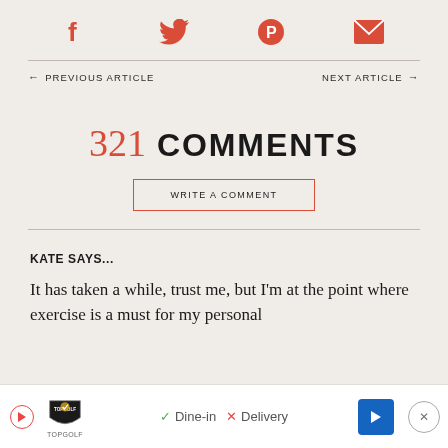[Figure (infographic): Social sharing icons row: Facebook (f), Twitter (bird), Pinterest (P circle), Email (envelope) — all in red/coral color]
← PREVIOUS ARTICLE    NEXT ARTICLE →
321 COMMENTS
WRITE A COMMENT
KATE SAYS...
It has taken a while, trust me, but I'm at the point where exercise is a must for my personal san... bro...
[Figure (infographic): Advertisement bar at bottom: TopGolf logo with Dine-in checkmark and Delivery X option, blue navigation arrow button, and close X button]